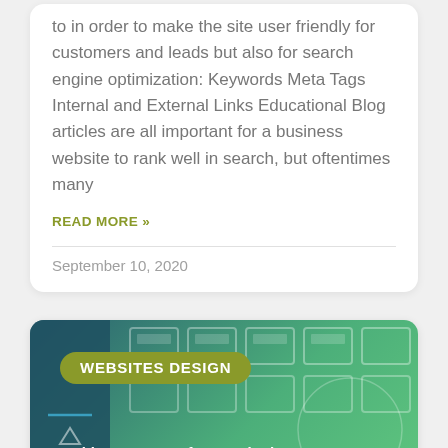to in order to make the site user friendly for customers and leads but also for search engine optimization: Keywords Meta Tags Internal and External Links Educational Blog articles are all important for a business website to rank well in search, but oftentimes many
READ MORE »
September 10, 2020
[Figure (illustration): Green and teal card with website design decorative rectangles/frames overlay. Contains a dark olive pill-shaped tag labeled 'WEBSITES DESIGN' and partial title text '3 Things to Do Before Designing Your']